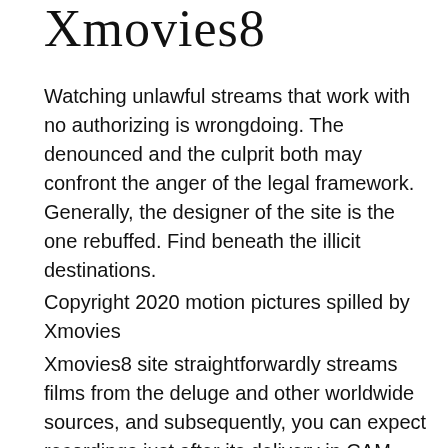Xmovies8
Watching unlawful streams that work with no authorizing is wrongdoing. The denounced and the culprit both may confront the anger of the legal framework. Generally, the designer of the site is the one rebuffed. Find beneath the illicit destinations.
Copyright 2020 motion pictures spilled by Xmovies
Xmovies8 site straightforwardly streams films from the deluge and other worldwide sources, and subsequently, you can expect recordings just after its delivery in CAM quality with no approval. Find beneath the rundown of motion pictures spilled